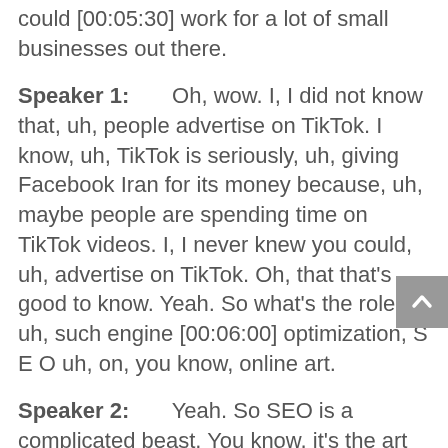could [00:05:30] work for a lot of small businesses out there.
Speaker 1:       Oh, wow. I, I did not know that, uh, people advertise on TikTok. I know, uh, TikTok is seriously, uh, giving Facebook Iran for its money because, uh, maybe people are spending time on TikTok videos. I, I never knew you could, uh, advertise on TikTok. Oh, that that's good to know. Yeah. So what's the role of, uh, such engine [00:06:00] optimization, S E O uh, on, you know, online art.
Speaker 2:       Yeah. So SEO is a complicated beast. You know, it's the art of, you know, getting your website to rank organically on Google, you know, not the paid section. It's just the organic section, which is if you're doing a